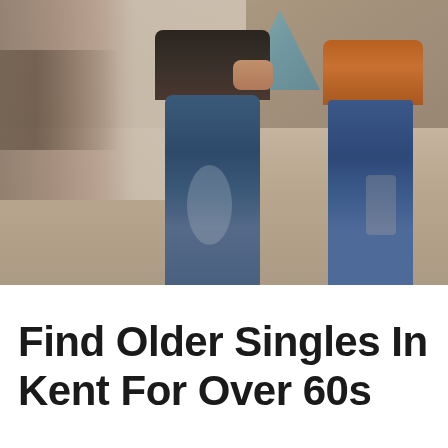[Figure (photo): A couple standing on a paved plaza or street. The man is in dark blue jeans and a dark jacket, visible from waist down. The woman is in tight blue jeans with decorative details and a brown/orange jacket, also visible from waist down. They appear to be holding hands. Background shows a blurred urban scene with columns and a blue-green architectural structure.]
Find Older Singles In Kent For Over 60s